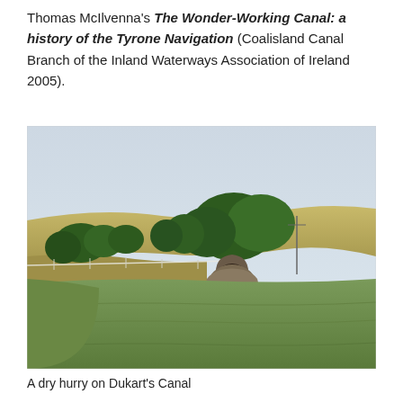Thomas McIlvenna's The Wonder-Working Canal: a history of the Tyrone Navigation (Coalisland Canal Branch of the Inland Waterways Association of Ireland 2005).
[Figure (photo): A rural landscape photograph showing green fields in the foreground, a stone arch tunnel entrance (dry hurry) in the middle ground, a row of trees behind a fence line, and a pale sky above a gently rolling hillside with golden crop fields.]
A dry hurry on Dukart's Canal